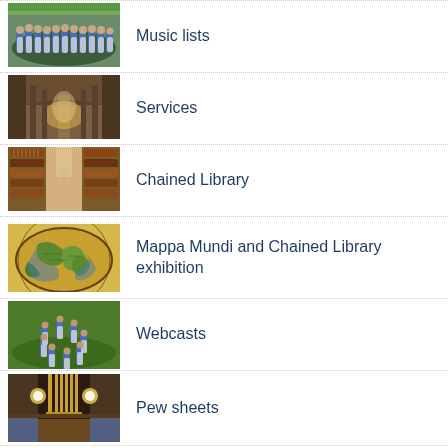Music lists
Services
Chained Library
Mappa Mundi and Chained Library exhibition
Webcasts
Pew sheets